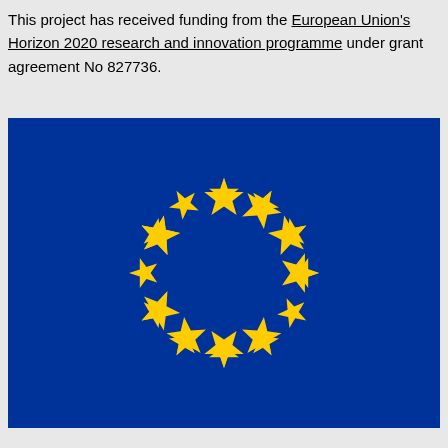This project has received funding from the European Union's Horizon 2020 research and innovation programme under grant agreement No 827736.
[Figure (illustration): European Union flag — blue rectangle with 12 yellow five-pointed stars arranged in a circle]